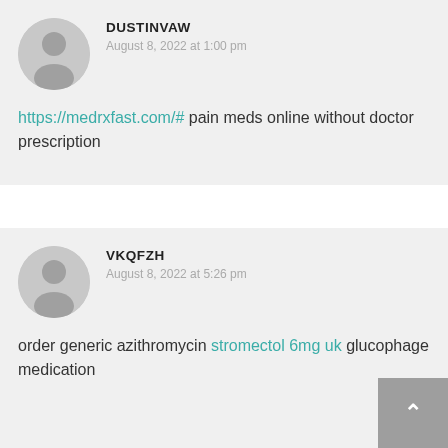DUSTINVAW — August 8, 2022 at 1:00 pm
https://medrxfast.com/# pain meds online without doctor prescription
VKQFZH — August 8, 2022 at 5:26 pm
order generic azithromycin stromectol 6mg uk glucophage medication